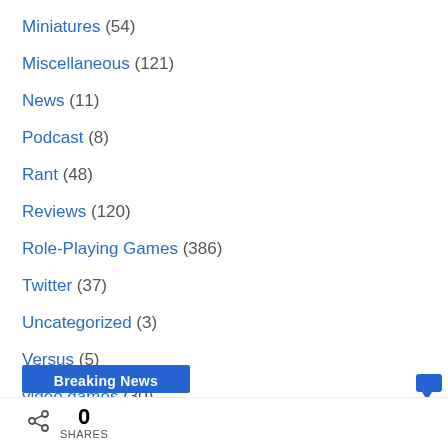Miniatures (54)
Miscellaneous (121)
News (11)
Podcast (8)
Rant (48)
Reviews (120)
Role-Playing Games (386)
Twitter (37)
Uncategorized (3)
Versus (5)
video games (30)
Breaking News
0 SHARES